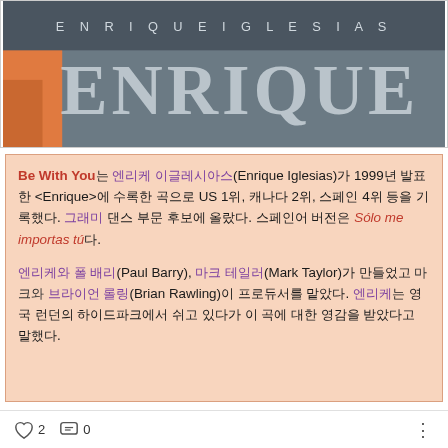[Figure (photo): Album cover image for Enrique Iglesias showing the text 'ENRIQUE IGLESIAS' and 'ENRIQUE' in large letters on a gray/dark background with an orange element on the left side.]
Be With You는 엔리케 이글레시아스(Enrique Iglesias)가 1999년 발표한 <Enrique>에 수록한 곡으로 US 1위, 캐나다 2위, 스페인 4위 등을 기록했다. 그래미 댄스 부문 후보에 올랐다. 스페인어 버전은 Sólo me importas tú다.
엔리케와 폴 배리(Paul Barry), 마크 테일러(Mark Taylor)가 만들었고 마크와 브라이언 롤링(Brian Rawling)이 프로듀서를 맡았다. 엔리케는 영국 런던의 하이드파크에서 쉬고 있다가 이 곡에 대한 영감을 받았다고 말했다.
♡ 2   💬 0   ⋮